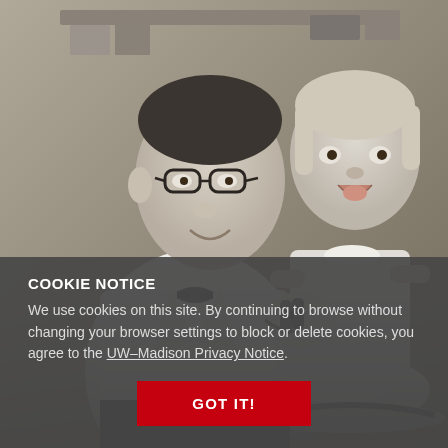[Figure (photo): Black and white vintage photograph of a man in a white lab coat and bow tie sitting beside a young girl who is riding a toy rocking horse. The man is smiling and looking at the girl, who has her mouth open joyfully.]
COOKIE NOTICE
We use cookies on this site. By continuing to browse without changing your browser settings to block or delete cookies, you agree to the UW–Madison Privacy Notice.
GOT IT!